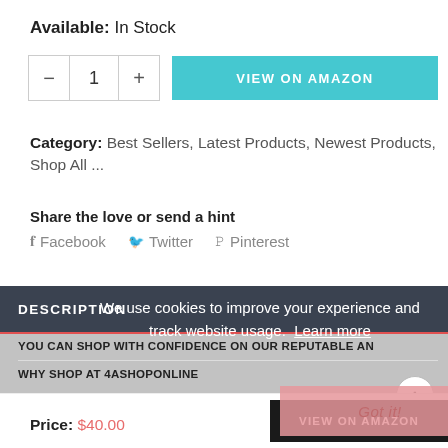Available: In Stock
- 1 + VIEW ON AMAZON
Category: Best Sellers, Latest Products, Newest Products, Shop All ...
Share the love or send a hint
f Facebook  Twitter  Pinterest
DESCRIPTION
We use cookies to improve your experience and track website usage. Learn more
YOU CAN SHOP WITH CONFIDENCE ON OUR REPUTABLE AN
Got it!
WHY SHOP AT 4ASHOPONLINE
Price: $40.00
VIEW ON AMAZON